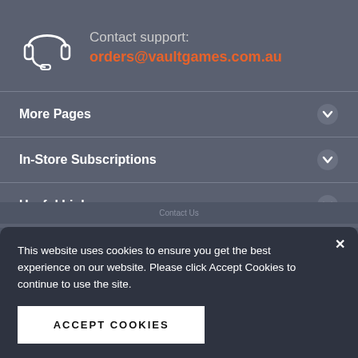[Figure (illustration): Headset/customer support icon in white outline style]
Contact support:
orders@vaultgames.com.au
More Pages
In-Store Subscriptions
Useful Links
[Figure (illustration): Payment method icons: VISA, Mastercard, afterpay, zip, Amex]
[Figure (logo): VG (Vault Games) watermark logo in dark silhouette]
This website uses cookies to ensure you get the best experience on our website. Please click Accept Cookies to continue to use the site.
ACCEPT COOKIES